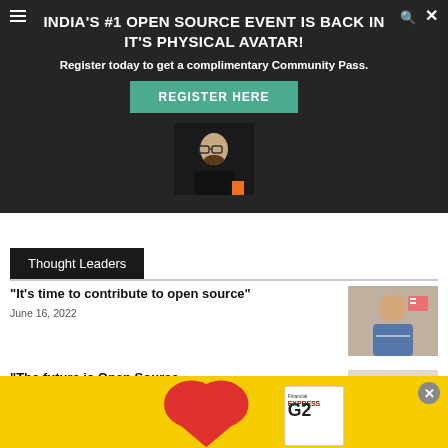INDIA'S #1 OPEN SOURCE EVENT IS BACK IN IT'S PHYSICAL AVATAR!
Register today to get a complimentary Community Pass.
REGISTER HERE
Thought Leaders
"It's time to contribute to open source"
June 16, 2022
[Figure (photo): Man with glasses in dark clothing]
[Figure (photo): Man in blue jacket with arms crossed in office]
"The future is Open Source..."
May 20, 2022
[Figure (photo): Yellow advertisement banner with heart and newspaper/Express magazine]